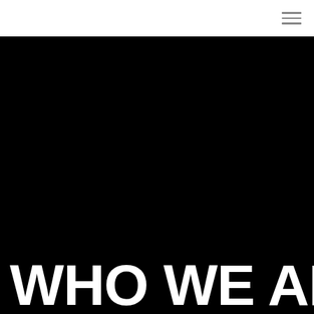[Figure (other): Navigation bar with hamburger menu icon (three horizontal lines) on white background at top of page]
[Figure (photo): Large black area filling most of the page, appears to be a dark/black photograph or background]
WHO WE ARE